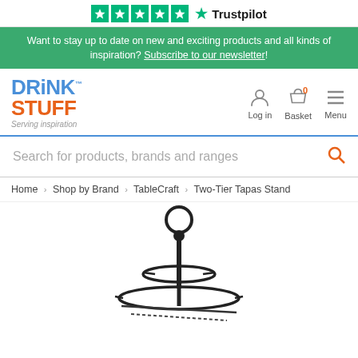[Figure (logo): Trustpilot 5-star rating logo with green stars and Trustpilot brand name]
Want to stay up to date on new and exciting products and all kinds of inspiration? Subscribe to our newsletter!
[Figure (logo): DrinkStuff logo with blue DR and INK text, orange ST and UFF text, tagline 'Serving inspiration']
Log in
Basket
Menu
Search for products, brands and ranges
Home > Shop by Brand > TableCraft > Two-Tier Tapas Stand
[Figure (photo): Two-tier tapas stand product image showing black metal stand with ring handle and tiered circular shelves]